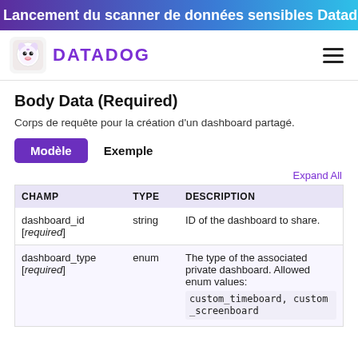Lancement du scanner de données sensibles Datadog
[Figure (logo): Datadog logo with purple dog icon and DATADOG wordmark in purple]
Body Data (Required)
Corps de requête pour la création d'un dashboard partagé.
Modèle   Exemple
Expand All
| CHAMP | TYPE | DESCRIPTION |
| --- | --- | --- |
| dashboard_id [required] | string | ID of the dashboard to share. |
| dashboard_type [required] | enum | The type of the associated private dashboard. Allowed enum values: custom_timeboard, custom_screenboard |